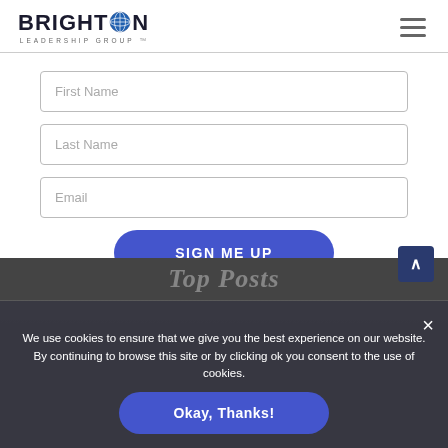[Figure (logo): Brighton Leadership Group logo with globe icon]
[Figure (other): Hamburger menu icon (three horizontal lines)]
First Name
Last Name
Email
SIGN ME UP
We use cookies to ensure that we give you the best experience on our website. By continuing to browse this site or by clicking ok you consent to the use of cookies.
Top Posts
Okay, Thanks!